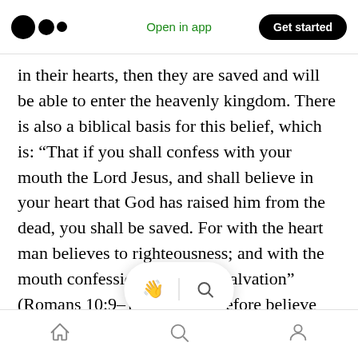Open in app | Get started
in their hearts, then they are saved and will be able to enter the heavenly kingdom. There is also a biblical basis for this belief, which is: “That if you shall confess with your mouth the Lord Jesus, and shall believe in your heart that God has raised him from the dead, you shall be saved. For with the heart man believes to righteousness; and with the mouth confession is made to salvation” (Romans 10:9–10). They therefore believe even more strongly that those who are saved by faith can e····the heavenly kingdom. But there······hristians who
Home | Search | Profile